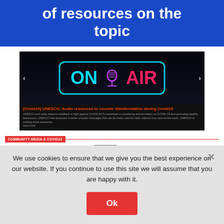of resources on the topic
[Figure (screenshot): Screenshot of a website showing an 'On Air' neon sign image with carousel arrows, with caption: [Covid19] UNESCO: Audio resources to counter disinformation during Covid19. UNESCO and radio stations mobilised to fight against COVID-19. To contribute to countering disinformation on COVID-19 and promoting healthy behaviours, UNESCO has produced a series of audio messages that can be freely used by radio stations from around the world. UNESCO is making these resources... read more.]
COMMUNITY MEDIA & COVID19
[Figure (logo): Radio dreyeckland 102.3 mhz logo with heartbeat/waveform graphic]
April 6, 2021 [COVID19] CPJ – COMMITTEE TO PROTECT JOURNALISTS: MULTILINGUAL RESOURCES & SAFETY ADVISORY FOR COVERING COVID19
April 5, 2021
We use cookies to ensure that we give you the best experience on our website. If you continue to use this site we will assume that you are happy with it.